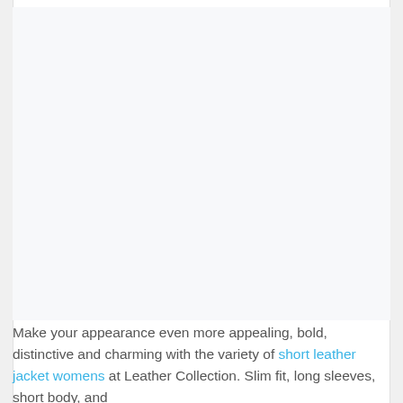[Figure (photo): Large product photo area showing a womens short leather jacket — the image content is not visible in this crop, showing mostly white/light background.]
Make your appearance even more appealing, bold, distinctive and charming with the variety of short leather jacket womens at Leather Collection. Slim fit, long sleeves, short body, and